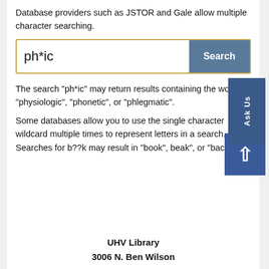Database providers such as JSTOR and Gale allow multiple character searching.
[Figure (screenshot): Search box showing 'ph*ic' as input text with a blue 'Search' button to the right, styled with a gold border.]
The search "ph*ic" may return results containing the words "physiologic", "phonetic", or "phlegmatic".
Some databases allow you to use the single character wildcard multiple times to represent letters in a search. Searches for b??k may result in "book", beak", or "back"
UHV Library
3006 N. Ben Wilson